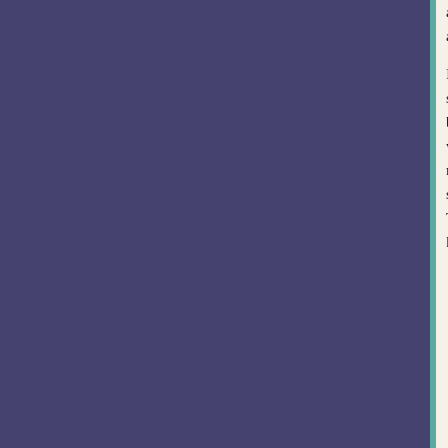astonished by the talent I find in LA. When I saw her, her music was very special and otherworldly, and like two human planets, we could potentially orbit each other.

I would venture to say that the first time I saw her was one astonishing musical moments I have ever seen. It was Halloween and she came out in a marionette costume and stood motionless while her back up players worked puppets. For me, a storyteller, it really had an impact. The initial friendship with her was kind of a lark for me – she had better things to do. It was just a matter of pursuing a new friend and seeing how much I could get away with. Even in the most of life's wonder, we had some mileage to us as friends. I will tell you that the first *official* connection is she was writing Tulip – from the Hunting my... screenplay dealing with Tulip Fever in Holland and the material. I knew I had two opportunities to wiggle about with the book, and one to get it back!
[Figure (photo): Dark artistic photograph showing a swirling, feathered or plant-like white/grey texture against a black background, positioned in the lower portion of the page]